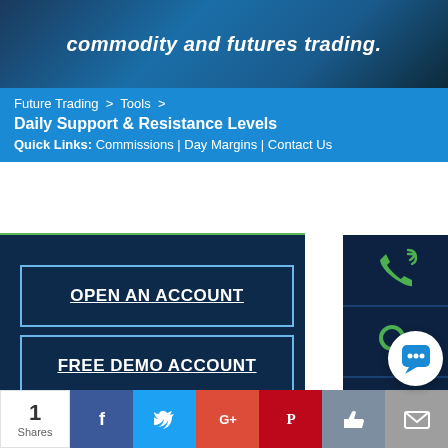commodity and futures trading.
Future Trading > Tools > Daily Support & Resistance Levels
Quick Links: Commissions | Day Margins | Contact Us
[Figure (illustration): Green and dark navy sidebar panel with two CTA buttons and categories section]
OPEN AN ACCOUNT
FREE DEMO ACCOUNT
Categories
Bitcoin Futures (27)
[Figure (illustration): Right sidebar with phone, search, chart icons on dark navy background]
[Figure (illustration): Chat bubble icon bottom right]
1 Shares | Facebook | Twitter | Google+ | Pinterest | Like | Mail